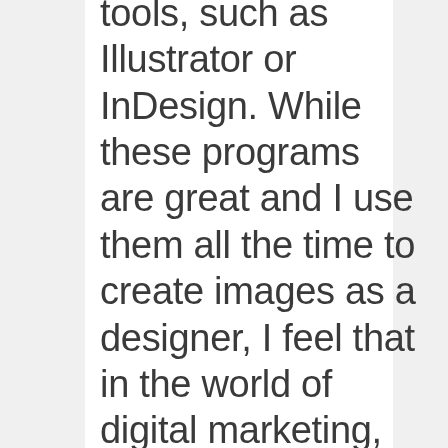tools, such as Illustrator or InDesign. While these programs are great and I use them all the time to create images as a designer, I feel that in the world of digital marketing, we need some tools that are a little simpler and more available on-the-go sometimes, especially when we're running social media campaigns. Often, you're out and about and all you have is your smartphone or